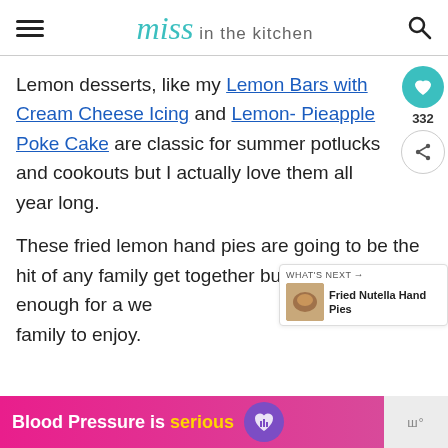Miss in the kitchen
Lemon desserts, like my Lemon Bars with Cream Cheese Icing and Lemon- Pieapple Poke Cake are classic for summer potlucks and cookouts but I actually love them all year long.
These fried lemon hand pies are going to be the hit of any family get together but they are simple enough for a weeknight dessert for the family to enjoy.
[Figure (other): What's Next sidebar widget showing Fried Nutella Hand Pies]
[Figure (other): Blood Pressure is serious advertisement banner with purple heart logo]